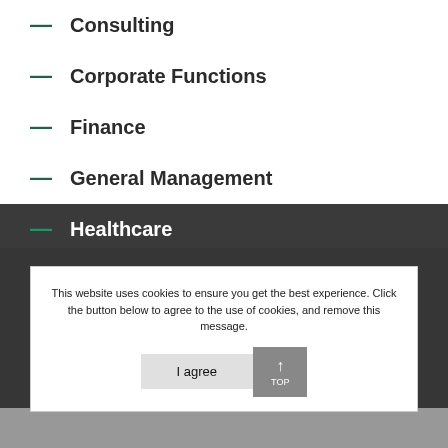Consulting
Corporate Functions
Finance
General Management
Healthcare
Human Resources
Information Technology
Sales and Marketing
This website uses cookies to ensure you get the best experience. Click the button below to agree to the use of cookies, and remove this message.